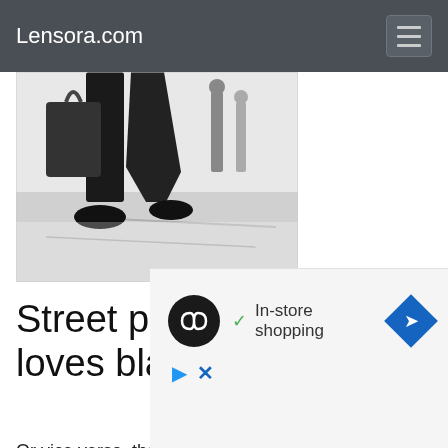Lensora.com
[Figure (photo): Black and white street photography showing person's legs and feet walking, carrying a dark bag, on a light-colored surface]
Street photography loves black and white
Or vice versa, that black and white loves street photography. Because yes, there is a love between them. There is something about the black and white scale that is particularly appealing when it comes to street photography.
[Figure (screenshot): Advertisement overlay showing a circular logo with infinity-like symbol, a checkmark with 'In-store shopping' text, a blue diamond arrow icon, a play button icon, and an X close button]